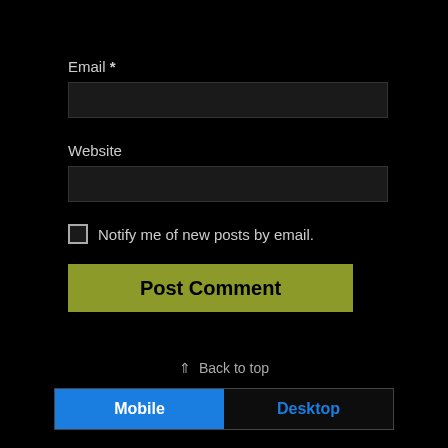Email *
Website
Notify me of new posts by email.
Post Comment
⇑ Back to top
Mobile | Desktop